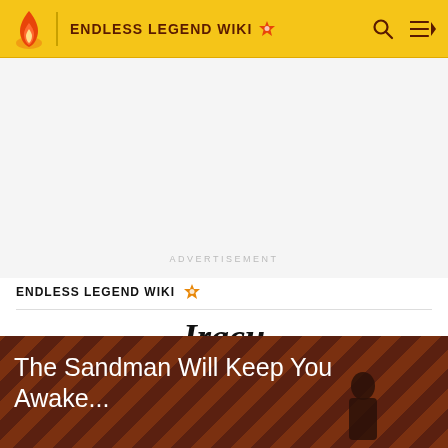ENDLESS LEGEND WIKI
ADVERTISEMENT
ENDLESS LEGEND WIKI
Iracu
EDIT
The Sandman Will Keep You Awake...